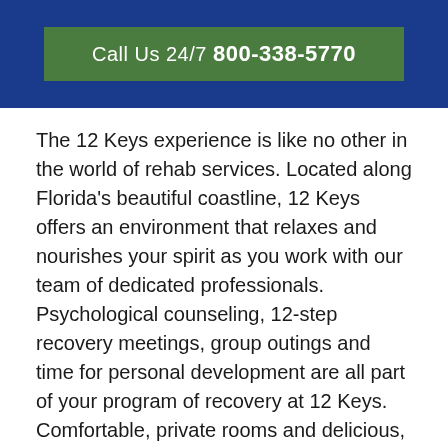Call Us 24/7 800-338-5770
The 12 Keys experience is like no other in the world of rehab services. Located along Florida's beautiful coastline, 12 Keys offers an environment that relaxes and nourishes your spirit as you work with our team of dedicated professionals. Psychological counseling, 12-step recovery meetings, group outings and time for personal development are all part of your program of recovery at 12 Keys. Comfortable, private rooms and delicious, healthy meals round out the 12 Keys experience, so you are comfortable and cared for during your stay with us.
Each person receives an individualized treatment